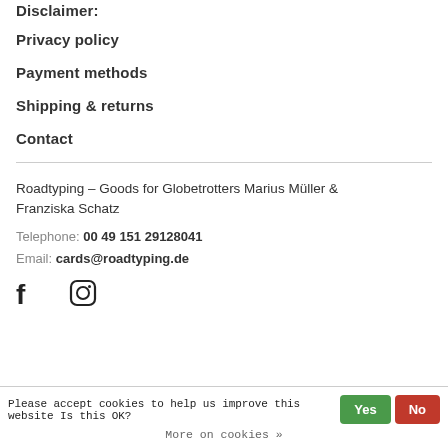Disclaimer:
Privacy policy
Payment methods
Shipping & returns
Contact
Roadtyping – Goods for Globetrotters Marius Müller & Franziska Schatz
Telephone: 00 49 151 29128041
Email: cards@roadtyping.de
[Figure (other): Facebook and Instagram social media icons]
Please accept cookies to help us improve this website Is this OK? Yes No
More on cookies »